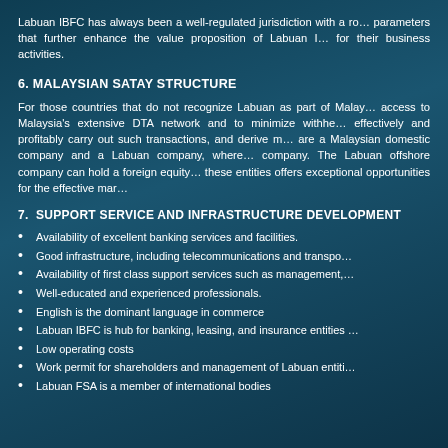Labuan IBFC has always been a well-regulated jurisdiction with a robust parameters that further enhance the value proposition of Labuan IBFC for their business activities.
6. MALAYSIAN SATAY STRUCTURE
For those countries that do not recognize Labuan as part of Malaysia, access to Malaysia's extensive DTA network and to minimize withholding effectively and profitably carry out such transactions, and derive maximum are a Malaysian domestic company and a Labuan company, where company. The Labuan offshore company can hold a foreign equity these entities offers exceptional opportunities for the effective management.
7.  SUPPORT SERVICE AND INFRASTRUCTURE DEVELOPMENT
Availability of excellent banking services and facilities.
Good infrastructure, including telecommunications and transportation.
Availability of first class support services such as management,
Well-educated and experienced professionals.
English is the dominant language in commerce
Labuan IBFC is hub for banking, leasing, and insurance entities
Low operating costs
Work permit for shareholders and management of Labuan entities
Labuan FSA is a member of international bodies